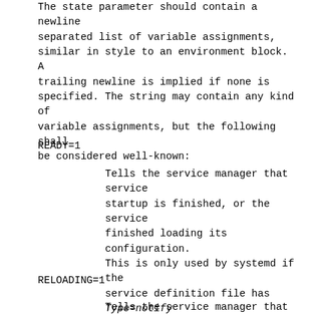The state parameter should contain a newline separated list of variable assignments, similar in style to an environment block. A trailing newline is implied if none is specified. The string may contain any kind of variable assignments, but the following shall be considered well-known:
READY=1
Tells the service manager that service startup is finished, or the service finished loading its configuration. This is only used by systemd if the service definition file has Type=notify set. Since there is little value in signaling non-readiness, the only value services should send is "READY=1" (i.e. "READY=0" is not defined).
RELOADING=1
Tells the service manager that the service is reloading its configuration